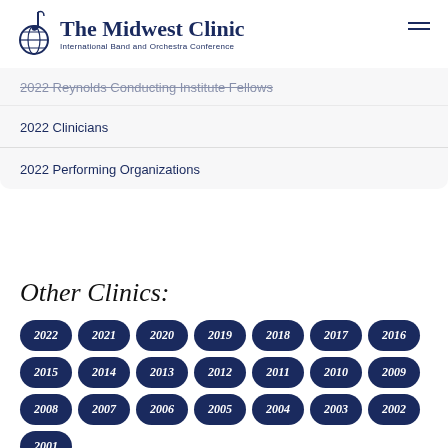The Midwest Clinic – International Band and Orchestra Conference
2022 Reynolds Conducting Institute Fellows
2022 Clinicians
2022 Performing Organizations
Other Clinics:
2022
2021
2020
2019
2018
2017
2016
2015
2014
2013
2012
2011
2010
2009
2008
2007
2006
2005
2004
2003
2002
2001